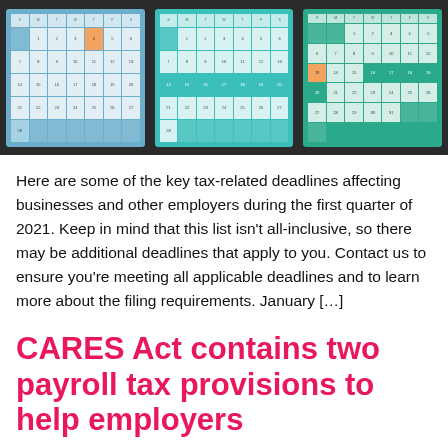[Figure (illustration): Three calendar widgets displayed side by side on a dark background. Left calendar has a blue background with an orange highlighted date. Middle calendar has a teal background with a teal highlighted row. Right calendar has a green background with an orange highlighted date.]
Here are some of the key tax-related deadlines affecting businesses and other employers during the first quarter of 2021. Keep in mind that this list isn't all-inclusive, so there may be additional deadlines that apply to you. Contact us to ensure you're meeting all applicable deadlines and to learn more about the filing requirements. January […]
CARES Act contains two payroll tax provisions to help employers
[Figure (photo): Photograph of baked goods or donuts on a commercial baking tray, shot from above in a commercial kitchen setting.]